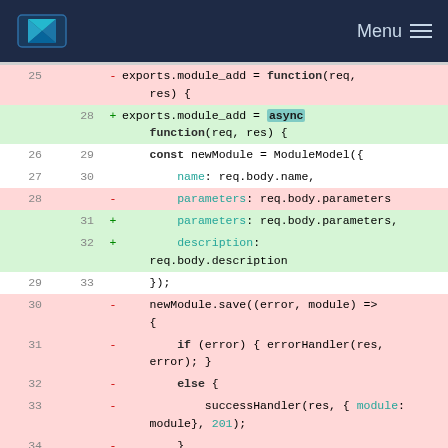Menu
[Figure (screenshot): Code diff showing module_add function being converted from callback-based to async/await pattern in JavaScript. Lines 25-35 shown with deletions (red) and additions (green).]